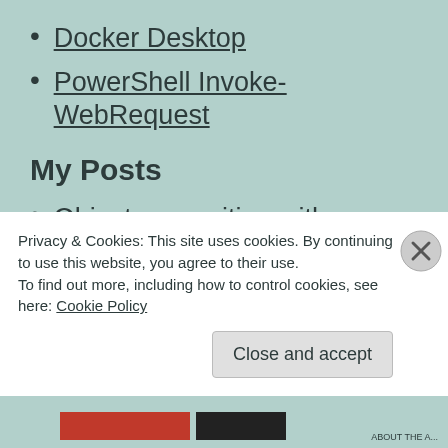Docker Desktop
PowerShell Invoke-WebRequest
My Posts
Object recognition with Custom Vision and ONNX in Windows applications using WinML (1)
Object recognition with Custom Vision and ONNX in Windows applications
Privacy & Cookies: This site uses cookies. By continuing to use this website, you agree to their use.
To find out more, including how to control cookies, see here: Cookie Policy
Close and accept